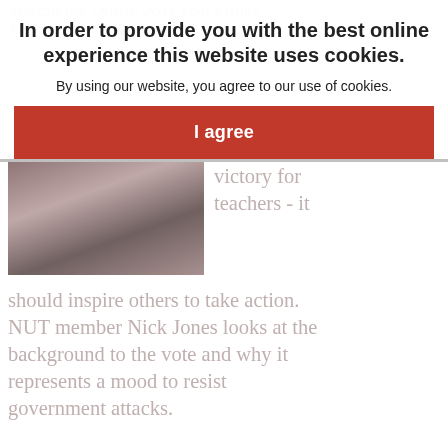TEACHERS: LARGE VOTE FOR STRIKE SHOWS MOOD TO RESIST
[Figure (photo): Protest photo showing teachers with placards]
victory for teachers - it should inspire others to take action. NUT member Nick Jones looks at the background to the vote and why it represents a mood to resist government attacks.
In order to provide you with the best online experience this website uses cookies.
By using our website, you agree to our use of cookies.
I agree
SHOULD THE LEFT BE CALLING FOR A GENERAL STRIKE?
[Figure (photo): Black and white photo related to general strike article]